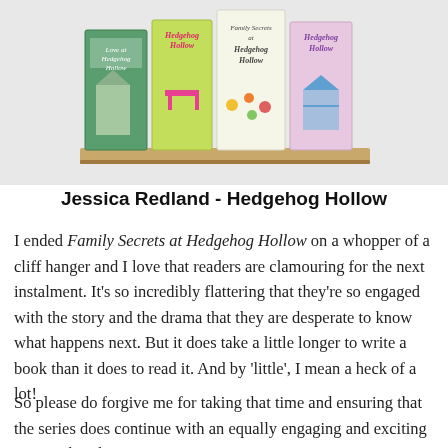[Figure (illustration): Four book covers of the Hedgehog Hollow series by Jessica Redland displayed on a wooden shelf against a light background. Books show colourful illustrated covers with countryside scenes.]
Jessica Redland - Hedgehog Hollow
I ended Family Secrets at Hedgehog Hollow on a whopper of a cliff hanger and I love that readers are clamouring for the next instalment. It's so incredibly flattering that they're so engaged with the story and the drama that they are desperate to know what happens next. But it does take a little longer to write a book than it does to read it. And by 'little', I mean a heck of a lot!
So please do forgive me for taking that time and ensuring that the series does continue with an equally engaging and exciting story rather than